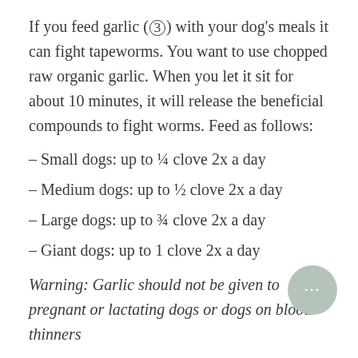If you feed garlic (3) with your dog's meals it can fight tapeworms. You want to use chopped raw organic garlic. When you let it sit for about 10 minutes, it will release the beneficial compounds to fight worms. Feed as follows:
– Small dogs: up to ¼ clove 2x a day
– Medium dogs: up to ½ clove 2x a day
– Large dogs: up to ¾ clove 2x a day
– Giant dogs: up to 1 clove 2x a day
Warning: Garlic should not be given to pregnant or lactating dogs or dogs on blood thinners
7. Olive Leaf